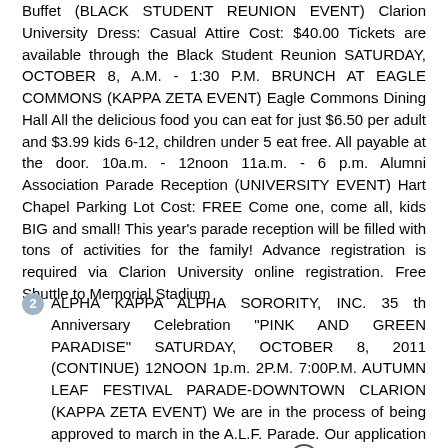Buffet (BLACK STUDENT REUNION EVENT) Clarion University Dress: Casual Attire Cost: $40.00 Tickets are available through the Black Student Reunion SATURDAY, OCTOBER 8, A.M. - 1:30 P.M. BRUNCH AT EAGLE COMMONS (KAPPA ZETA EVENT) Eagle Commons Dining Hall All the delicious food you can eat for just $6.50 per adult and $3.99 kids 6-12, children under 5 eat free. All payable at the door. 10a.m. - 12noon 11a.m. - 6 p.m. Alumni Association Parade Reception (UNIVERSITY EVENT) Hart Chapel Parking Lot Cost: FREE Come one, come all, kids BIG and small! This year's parade reception will be filled with tons of activities for the family! Advance registration is required via Clarion University online registration. Free Shuttle to Memorial Stadium
2 ALPHA KAPPA ALPHA SORORITY, INC. 35 th Anniversary Celebration "PINK AND GREEN PARADISE" SATURDAY, OCTOBER 8, 2011 (CONTINUE) 12NOON 1p.m. 2P.M. 7:00P.M. AUTUMN LEAF FESTIVAL PARADE-DOWNTOWN CLARION (KAPPA ZETA EVENT) We are in the process of being approved to march in the A.L.F. Parade. Our application will be reviewed on September 26 th. If we are selected to march, we will carry our KZ Banner